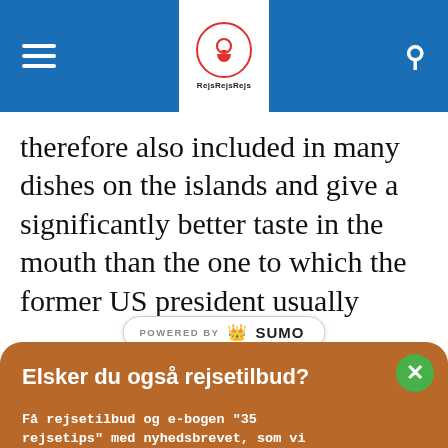RejsRejsRejs navigation header
therefore also included in many dishes on the islands and give a significantly better taste in the mouth than the one to which the former US president usually
[Figure (screenshot): POWERED BY SUMO banner overlay on article text]
Elsker du også rejsetilbud?
Få rejsetilbud og e-bogen "35 rejsetips" med nyhedsbrevet, som vi sender ud et par gange om måneden. Gratis.
Skriv din e-mail her
Ja tak, jeg vil gerne have e-bog og nyhedsbrev